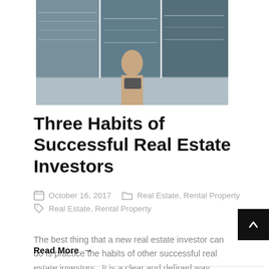[Figure (photo): Hero image showing a professional woman in a suit holding a laptop, with a city skyline collage background composed of multiple panels]
Three Habits of Successful Real Estate Investors
October 16, 2017   Real Estate, Rental Property   Real Estate, Rental Property
The best thing that a new real estate investor can do is practice the habits of other successful real estate investors.  It is a clear and defined way toward progress using habits you have already seen work. In this article
Read More →